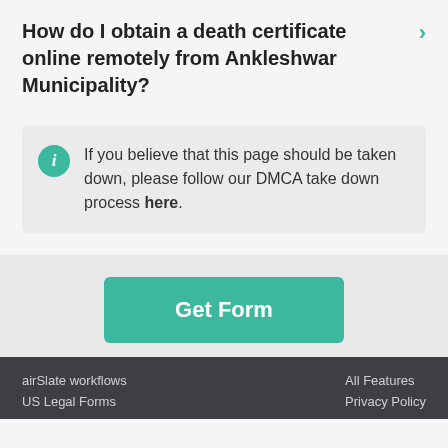How do I obtain a death certificate online remotely from Ankleshwar Municipality?
If you believe that this page should be taken down, please follow our DMCA take down process here.
Get Form
airSlate workflows
US Legal Forms
All Features
Privacy Policy